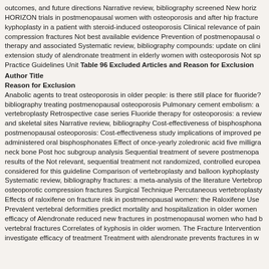outcomes, and future directions Narrative review, bibliography screened New horiz HORIZON trials in postmenopausal women with osteoporosis and after hip fracture kyphoplasty in a patient with steroid-induced osteoporosis Clinical relevance of pain compression fractures Not best available evidence Prevention of postmenopausal o therapy and associated Systematic review, bibliography compounds: update on clini extension study of alendronate treatment in elderly women with osteoporosis Not sp Practice Guidelines Unit
| Author Title | Reason for Exclusion |
| --- | --- |
| Anabolic agents to treat osteoporosis in older people: is there still place for fluoride? bibliography treating postmenopausal osteoporosis Pulmonary cement embolism: a vertebroplasty Retrospective case series Fluoride therapy for osteoporosis: a review and skeletal sites Narrative review, bibliography Cost-effectiveness of bisphosphona postmenopausal osteoporosis: Cost-effectiveness study implications of improved pe administered oral bisphosphonates Effect of once-yearly zoledronic acid five milligra neck bone Post hoc subgroup analysis Sequential treatment of severe postmenopa results of the Not relevant, sequential treatment not randomized, controlled europea considered for this guideline Comparison of vertebroplasty and balloon kyphoplasty Systematic review, bibliography fractures: a meta-analysis of the literature Vertebrop osteoporotic compression fractures Surgical Technique Percutaneous vertebroplasty Effects of raloxifene on fracture risk in postmenopausal women: the Raloxifene Use Prevalent vertebral deformities predict mortality and hospitalization in older women efficacy of Alendronate reduced new fractures in postmenopausal women who had vertebral fractures Correlates of kyphosis in older women. The Fracture Intervention investigate efficacy of treatment Treatment with alendronate prevents fractures in w |  |